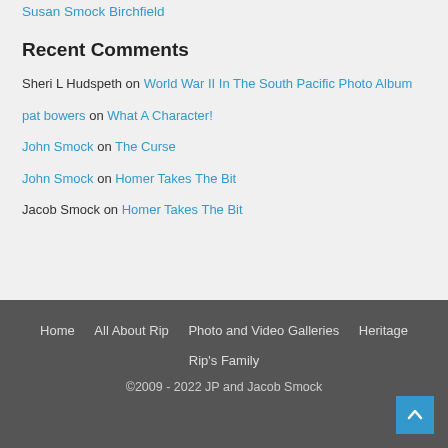Susan Smock Birchfield
Recent Comments
Sheri L Hudspeth on World War II In The South Pacific Photo Album
pat bowers on What A Character!
John Smock on The Curse
John Smock on Homer Takes The Bit
Jacob Smock on Homer Takes The Bit
Home  All About Rip  Photo and Video Galleries  Heritage  Rip's Family  ©2009 - 2022 JP and Jacob Smock